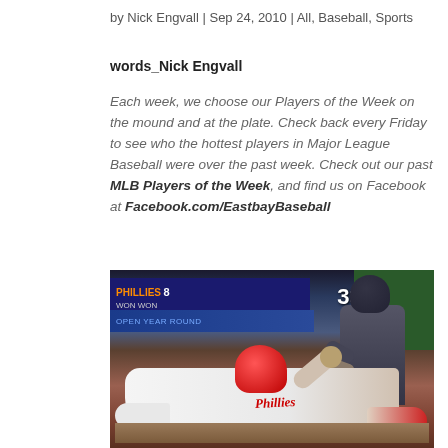by Nick Engvall | Sep 24, 2010 | All, Baseball, Sports
words_Nick Engvall
Each week, we choose our Players of the Week on the mound and at the plate. Check back every Friday to see who the hottest players in Major League Baseball were over the past week. Check out our past MLB Players of the Week, and find us on Facebook at Facebook.com/EastbayBaseball
[Figure (photo): Baseball action photo showing a Philadelphia Phillies player sliding into home plate while a catcher attempts a tag, with a stadium scoreboard and '330' distance marker visible in the background.]